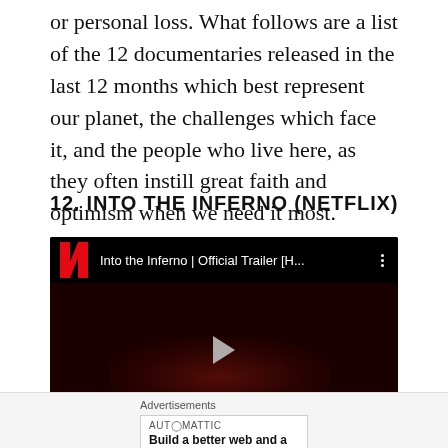or personal loss. What follows are a list of the 12 documentaries released in the last 12 months which best represent our planet, the challenges which face it, and the people who live here, as they often instill great faith and optimism when we need it most.
12. INTO THE INFERNO (NETFLIX)
[Figure (screenshot): YouTube/Netflix embedded video player showing 'Into the Inferno | Official Trailer [H...' with Netflix logo, dark volcanic background, and play button]
Advertisements
AUTOMATTIC
Build a better web and a better world.